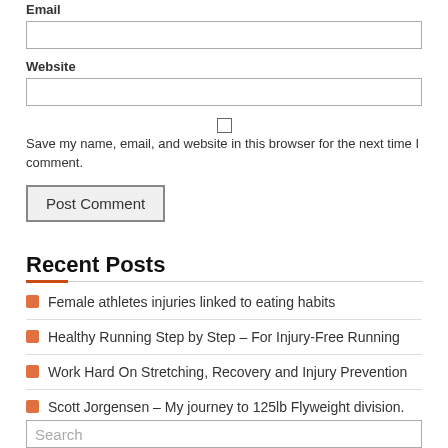Email
[Figure (other): Email text input field]
Website
[Figure (other): Website text input field]
[Figure (other): Checkbox for save name/email/website]
Save my name, email, and website in this browser for the next time I comment.
[Figure (other): Post Comment button]
Recent Posts
Female athletes injuries linked to eating habits
Healthy Running Step by Step – For Injury-Free Running
Work Hard On Stretching, Recovery and Injury Prevention
Scott Jorgensen – My journey to 125lb Flyweight division.
Joe Warren – MMA Fighter – The Science Behind The Training
[Figure (other): Search input box]